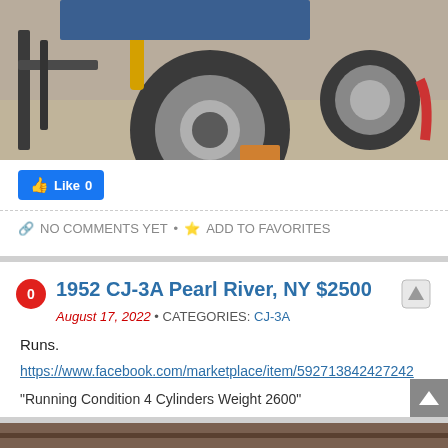[Figure (photo): Partial view of a vehicle frame/axle with a large tire visible, along with other tires and equipment on a gravel surface.]
Like 0
NO COMMENTS YET • ADD TO FAVORITES
1952 CJ-3A Pearl River, NY $2500
August 17, 2022 • CATEGORIES: CJ-3A
Runs.
https://www.facebook.com/marketplace/item/592713842427242
"Running Condition 4 Cylinders Weight 2600"
[Figure (photo): Partial bottom view of another vehicle listing image.]